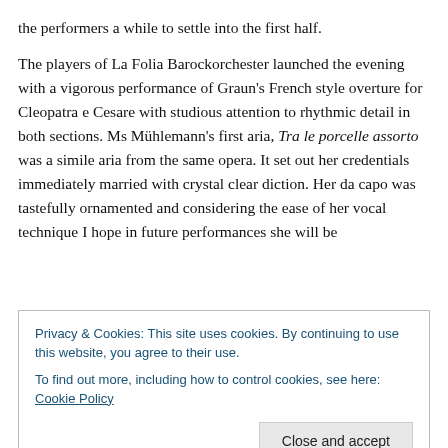the performers a while to settle into the first half.
The players of La Folia Barockorchester launched the evening with a vigorous performance of Graun's French style overture for Cleopatra e Cesare with studious attention to rhythmic detail in both sections. Ms Mühlemann's first aria, Tra le porcelle assorto was a simile aria from the same opera. It set out her credentials immediately married with crystal clear diction. Her da capo was tastefully ornamented and considering the ease of her vocal technique I hope in future performances she will be
Privacy & Cookies: This site uses cookies. By continuing to use this website, you agree to their use.
To find out more, including how to control cookies, see here: Cookie Policy
felice demonstrated how she can sustain and colour